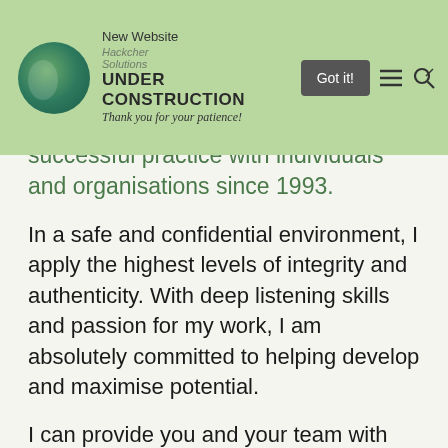[Figure (screenshot): Website banner with green background showing 'New Website UNDER CONSTRUCTION Thank you for your patience!' with a Got it! button, hamburger menu icon, and search icon. Hackcher Solutions logo on the left.]
successful practice with individuals and organisations since 1993.
In a safe and confidential environment, I apply the highest levels of integrity and authenticity. With deep listening skills and passion for my work, I am absolutely committed to helping develop and maximise potential.
I can provide you and your team with the tools and techniques needed to achieve long-term positive change, both professionally and personally.